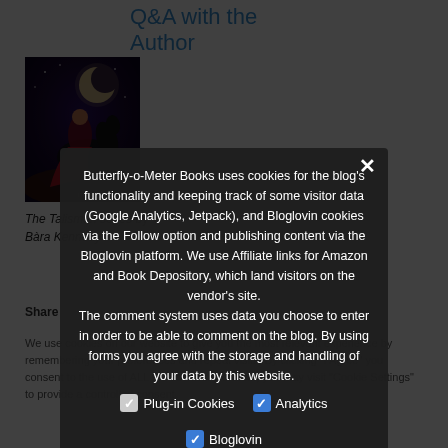Q&A with the Author
[Figure (photo): Book cover showing a woman in red dress with a dark horse under a moonlit night sky]
The Talisman series by Bara Kennedy
Share
We use cookies on our website to give you the most relevant experience by remembering your preferences and repeat visits. By clicking "I Agree" you consent to the use of ALL the cookies. However, you may visit "Cookie Settings" to provide a controlled consent.
Butterfly-o-Meter Books uses cookies for the blog's functionality and keeping track of some visitor data (Google Analytics, Jetpack), and Bloglovin cookies via the Follow option and publishing content via the Bloglovin platform. We use Affiliate links for Amazon and Book Depository, which land visitors on the vendor's site.
The comment system uses data you choose to enter in order to be able to comment on the blog. By using forms you agree with the storage and handling of your data by this website.
Plug-in Cookies
Analytics
Bloglovin
Privacy Preferences
Cookie Settings
I Agree